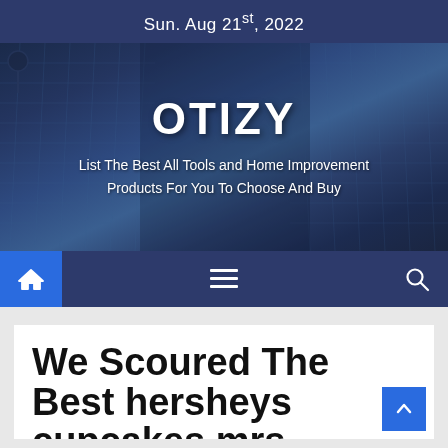Sun. Aug 21st, 2022
[Figure (screenshot): Hero banner image of OTIZY website with a dark blue overlay on a city building background, showing the site title OTIZY and tagline]
OTIZY
List The Best All Tools and Home Improvement Products For You To Choose And Buy
[Figure (infographic): Navigation bar with home icon button (blue), hamburger menu icon, and search icon on dark blue background]
We Scoured The Best hersheys cupcakes mrs